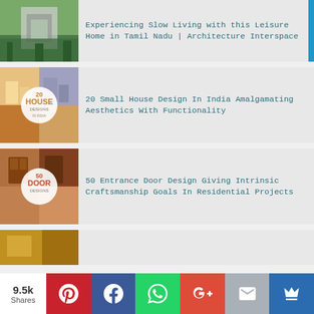[Figure (photo): Architecture leisure home exterior with garden path]
Experiencing Slow Living with this Leisure Home in Tamil Nadu | Architecture Interspace
[Figure (photo): 20 House Design collage cover image]
20 Small House Design In India Amalgamating Aesthetics With Functionality
[Figure (photo): 50 Door Design collage cover image]
50 Entrance Door Design Giving Intrinsic Craftsmanship Goals In Residential Projects
[Figure (photo): Interior room partial view]
9.5k Shares